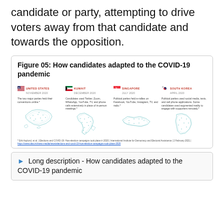candidate or party, attempting to drive voters away from that candidate and towards the opposition.
Figure 05: How candidates adapted to the COVID-19 pandemic
[Figure (infographic): Infographic showing how candidates adapted to COVID-19 pandemic in four countries: United States (November 2020) - The two major parties held their conventions online; Kuwait (December 2020) - Candidates used Twitter, Zoom, WhatsApp, YouTube, TV, and phone calls extensively in place of in-person meetings; Singapore (July 2020) - Political parties held e-rallies on Facebook, YouTube, Instagram, TV, and radio; South Korea (April 2020) - Political parties used social media, texts, and cell phone applications. Some candidates used augmented reality to engage with supporters remotely. Each country shown with a geometric low-poly map outline.]
▶ Long description - How candidates adapted to the COVID-19 pandemic